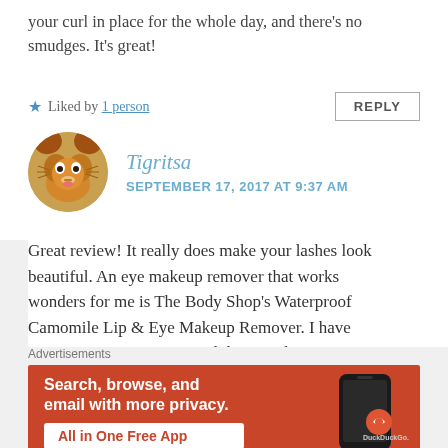your curl in place for the whole day, and there’s no smudges. It’s great!
Liked by 1 person
REPLY
[Figure (illustration): Circular avatar image of a tiger face with orange and brown fur, whiskers, and pink tongue]
Tigritsa
SEPTEMBER 17, 2017 AT 9:37 AM
Great review! It really does make your lashes look beautiful. An eye makeup remover that works wonders for me is The Body Shop’s Waterproof Camomile Lip & Eye Makeup Remover. I have super sensitive eyes too and this one doesn’t sting for me!
Advertisements
[Figure (screenshot): DuckDuckGo advertisement banner with orange background showing text 'Search, browse, and email with more privacy. All in One Free App' and a smartphone graphic with the DuckDuckGo logo]